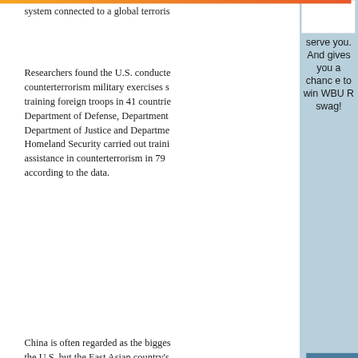system connected to a global terroris
Researchers found the U.S. conducte counterterrorism military exercises s training foreign troops in 41 countrie Department of Defense, Department Department of Justice and Departme Homeland Security carried out traini assistance in counterterrorism in 79 according to the data.
China is often regarded as the bigges the U.S. but the East Asian country's
serve you. And gives you a chance to win WBUR swag!
SHARE YO
LISTEN LIVE Here & Now